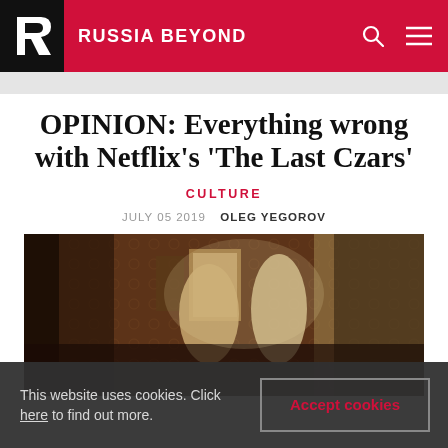RUSSIA BEYOND
OPINION: Everything wrong with Netflix's 'The Last Czars'
CULTURE
JULY 05 2019  OLEG YEGOROV
[Figure (photo): Scene from Netflix series The Last Czars showing period-dressed figures in a richly decorated room]
This website uses cookies. Click here to find out more.